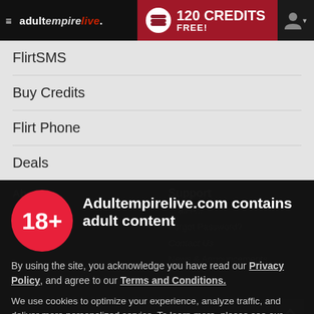adultempirelive. | 120 CREDITS FREE!
FlirtSMS
Buy Credits
Flirt Phone
Deals
Adultempirelive.com contains adult content
By using the site, you acknowledge you have read our Privacy Policy, and agree to our Terms and Conditions.
We use cookies to optimize your experience, analyze traffic, and deliver more personalized service. To learn more, please see our Privacy Policy.
I AGREE